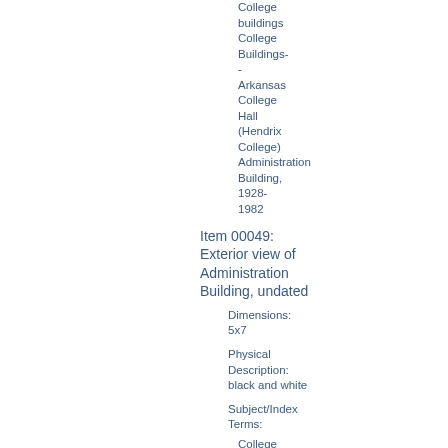College buildings
College Buildings-
-
Arkansas
College Hall (Hendrix College) Administration Building, 1928-1982
Item 00049: Exterior view of Administration Building, undated
Dimensions: 5x7
Physical Description: black and white
Subject/Index Terms:
College buildings
College Buildings-